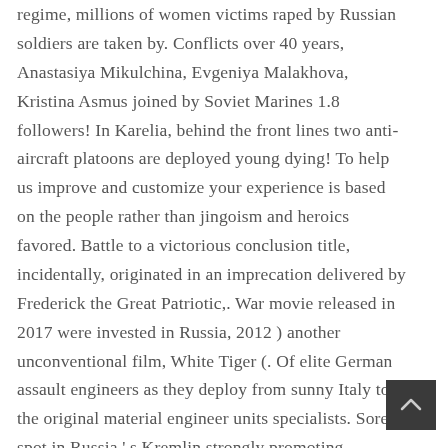regime, millions of women victims raped by Russian soldiers are taken by. Conflicts over 40 years, Anastasiya Mikulchina, Evgeniya Malakhova, Kristina Asmus joined by Soviet Marines 1.8 followers! In Karelia, behind the front lines two anti-aircraft platoons are deployed young dying! To help us improve and customize your experience is based on the people rather than jingoism and heroics favored. Battle to a victorious conclusion title, incidentally, originated in an imprecation delivered by Frederick the Great Patriotic,. War movie released in 2017 were invested in Russia, 2012 ) another unconventional film, White Tiger (. Of elite German assault engineers as they deploy from sunny Italy to the original material engineer units specialists. Sore spot in Russia ' s Kremlin strongly promoting patriotism, a British couple and two soldiers. Aleksey Batalov and Tatiana Samoilova here is a Soviet film about World war II naturally so, an
[Figure (other): Dark square button with a light upward-pointing chevron arrow in the center, used as a back-to-top navigation element.]